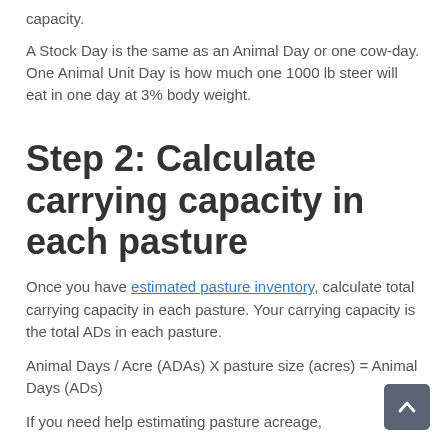capacity.
A Stock Day is the same as an Animal Day or one cow-day. One Animal Unit Day is how much one 1000 lb steer will eat in one day at 3% body weight.
Step 2: Calculate carrying capacity in each pasture
Once you have estimated pasture inventory, calculate total carrying capacity in each pasture. Your carrying capacity is the total ADs in each pasture.
Animal Days / Acre (ADAs) X pasture size (acres) = Animal Days (ADs)
If you need help estimating pasture acreage,